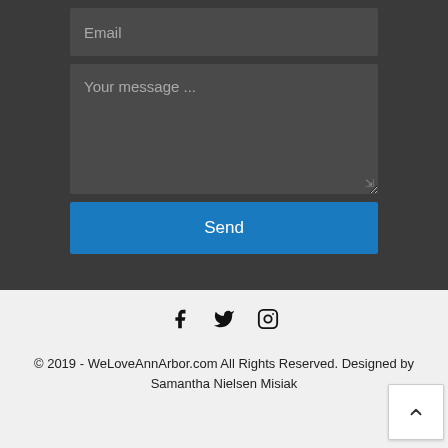[Figure (screenshot): Email input field with placeholder text 'Email' on dark background]
[Figure (screenshot): Textarea with placeholder text 'Your message ...' on dark background]
Send
[Figure (screenshot): Social media icons: Facebook (f), Twitter (bird), Instagram (circle) on light grey background]
© 2019 - WeLoveAnnArbor.com All Rights Reserved. Designed by Samantha Nielsen Misiak